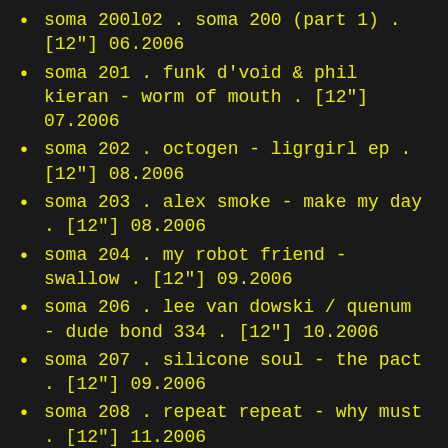soma 200l02 . soma 200 (part 1) . [12"] 06.2006
soma 201 . funk d'void & phil kieran - worm of mouth . [12"] 07.2006
soma 202 . octogen - ligrgirl ep . [12"] 08.2006
soma 203 . alex smoke - make my day . [12"] 08.2006
soma 204 . my robot friend - swallow . [12"] 09.2006
soma 206 . lee van dowski / quenum - dude bond 334 . [12"] 10.2006
soma 207 . silicone soul - the pact . [12"] 09.2006
soma 208 . repeat repeat - why must . [12"] 11.2006
soma 209 . octogen - c side . [12"] 11.2006